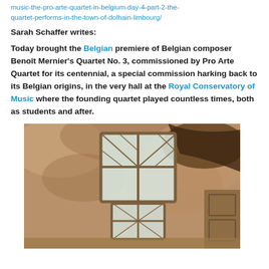music-the-pro-arte-quartet-in-belgium-day-4-part-2-the-quartet-performs-in-the-town-of-dolhain-limbourg/
Sarah Schaffer writes:
Today brought the Belgian premiere of Belgian composer Benoît Mernier's Quartet No. 3, commissioned by Pro Arte Quartet for its centennial, a special commission harking back to its Belgian origins, in the very hall at the Royal Conservatory of Music where the founding quartet played countless times, both as students and after.
[Figure (photo): Interior architectural photo showing a ornate ceiling with a skylight window with geometric glass panes, and decorative carved or painted ceiling panels in warm brown tones.]